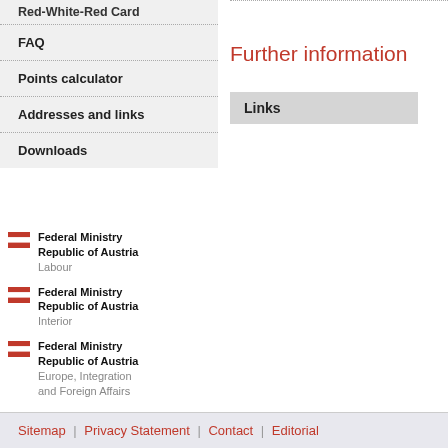Red-White-Red Card
FAQ
Points calculator
Addresses and links
Downloads
Further information
Links
[Figure (logo): Austrian federal flag icon — red-white-red stripes]
Federal Ministry Republic of Austria Labour
[Figure (logo): Austrian federal flag icon — red-white-red stripes]
Federal Ministry Republic of Austria Interior
[Figure (logo): Austrian federal flag icon — red-white-red stripes]
Federal Ministry Republic of Austria Europe, Integration and Foreign Affairs
Sitemap | Privacy Statement | Contact | Editorial